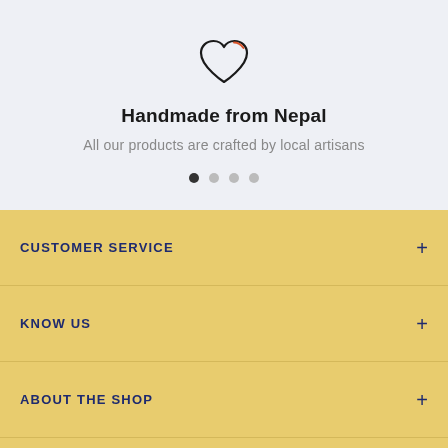[Figure (illustration): Heart icon outline with a small orange/red stroke on the upper right portion]
Handmade from Nepal
All our products are crafted by local artisans
[Figure (other): Carousel pagination dots: 4 dots with first one filled dark, rest lighter]
CUSTOMER SERVICE
KNOW US
ABOUT THE SHOP